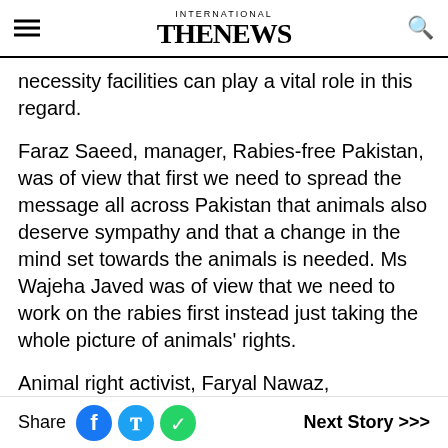INTERNATIONAL THE NEWS
necessity facilities can play a vital role in this regard.
Faraz Saeed, manager, Rabies-free Pakistan, was of view that first we need to spread the message all across Pakistan that animals also deserve sympathy and that a change in the mind set towards the animals is needed. Ms Wajeha Javed was of view that we need to work on the rabies first instead just taking the whole picture of animals' rights.
Animal right activist, Faryal Nawaz, emphasised that the government and civil society should work together to create general
Share  Next Story >>>